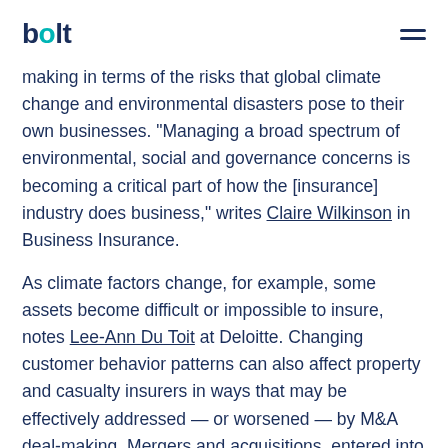bolt
making in terms of the risks that global climate change and environmental disasters pose to their own businesses. “Managing a broad spectrum of environmental, social and governance concerns is becoming a critical part of how the [insurance] industry does business,” writes Claire Wilkinson in Business Insurance.
As climate factors change, for example, some assets become difficult or impossible to insure, notes Lee-Ann Du Toit at Deloitte. Changing customer behavior patterns can also affect property and casualty insurers in ways that may be effectively addressed — or worsened — by M&A deal-making. Mergers and acquisitions, entered into